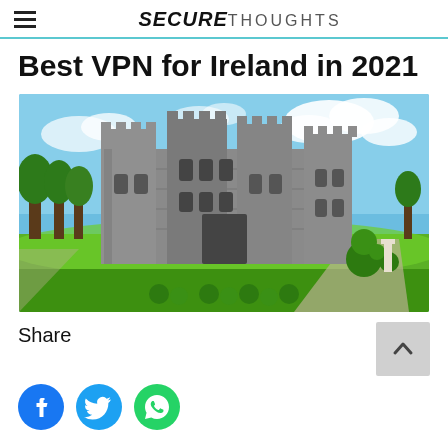SECURE THOUGHTS
Best VPN for Ireland in 2021
[Figure (photo): Photograph of an Irish castle (likely Ashford Castle) with grey stone towers and battlements, surrounded by lush green lawns, manicured hedges, and trees under a blue sky with white clouds.]
Share
[Figure (illustration): Social media share icons: Facebook (blue circle with white f), Twitter (light blue circle with white bird), WhatsApp (green circle with white phone handset)]